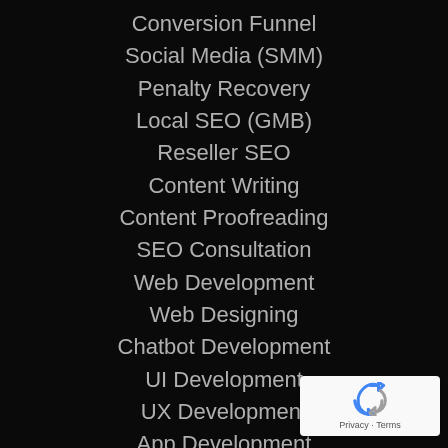Conversion Funnel
Social Media (SMM)
Penalty Recovery
Local SEO (GMB)
Reseller SEO
Content Writing
Content Proofreading
SEO Consultation
Web Development
Web Designing
Chatbot Development
UI Development
UX Development
App Development
Software Development
Bug Testing
Website Maintenance
AWS Management
Tech Consultation
[Figure (logo): Google reCAPTCHA badge with recycle-style arrows icon and Privacy · Terms text]